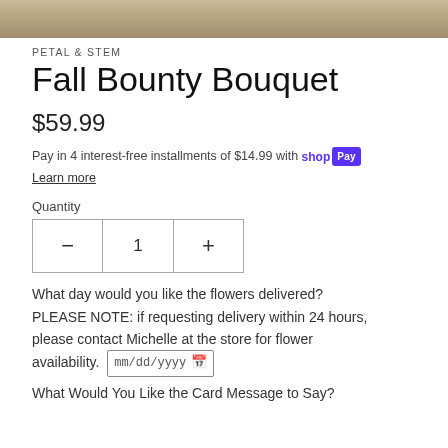[Figure (photo): Partial view of floral arrangement / decorative image strip at top of page]
PETAL & STEM
Fall Bounty Bouquet
$59.99
Pay in 4 interest-free installments of $14.99 with shop Pay
Learn more
Quantity
1
What day would you like the flowers delivered? PLEASE NOTE: if requesting delivery within 24 hours, please contact Michelle at the store for flower availability. mm/dd/yyyy
What Would You Like the Card Message to Say?